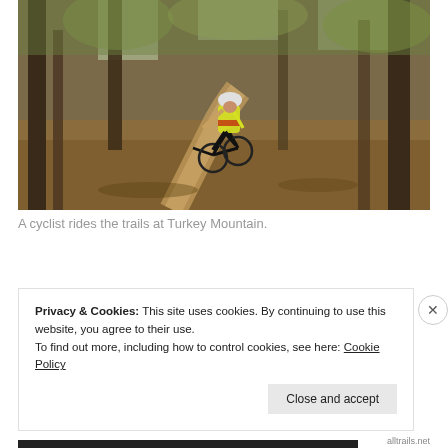[Figure (photo): A cyclist in a yellow jersey and white helmet rides a mountain bike on a dirt trail through a forest with fallen leaves on the ground and trees surrounding the path.]
A cyclist rides the trails at Turkey Mountain.
Privacy & Cookies: This site uses cookies. By continuing to use this website, you agree to their use.
To find out more, including how to control cookies, see here: Cookie Policy